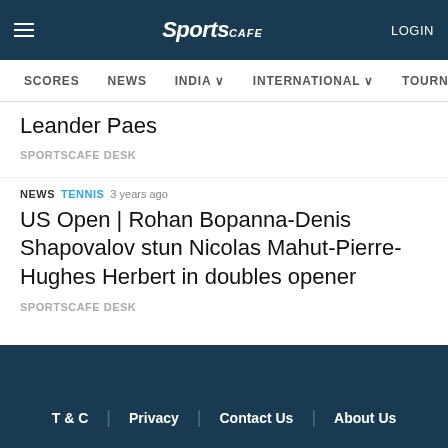SportsCafe | LOGIN
SCORES  NEWS  INDIA v  INTERNATIONAL v  TOURNA
Leander Paes
SPORTSCAFE DESK
NEWS  TENNIS  3 years ago
US Open | Rohan Bopanna-Denis Shapovalov stun Nicolas Mahut-Pierre-Hughes Herbert in doubles opener
SPORTSCAFE DESK
T & C  |  Privacy  |  Contact Us  |  About Us